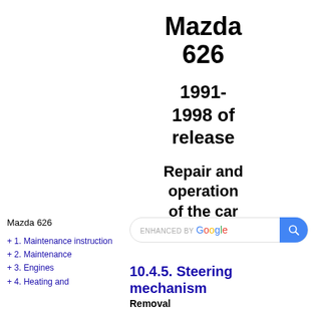Mazda 626
1991-1998 of release
Repair and operation of the car
Mazda 626
+ 1. Maintenance instruction
+ 2. Maintenance
+ 3. Engines
+ 4. Heating and
[Figure (screenshot): Enhanced by Google search bar with blue search button]
10.4.5. Steering mechanism
Removal